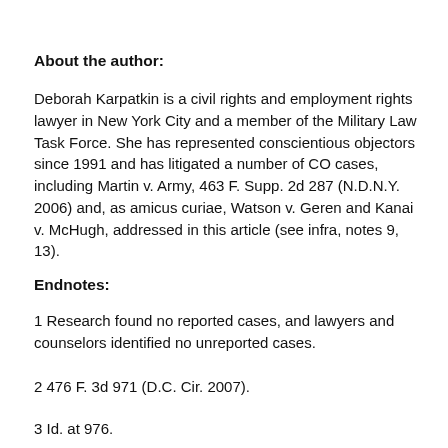About the author:
Deborah Karpatkin is a civil rights and employment rights lawyer in New York City and a member of the Military Law Task Force. She has represented conscientious objectors since 1991 and has litigated a number of CO cases, including Martin v. Army, 463 F. Supp. 2d 287 (N.D.N.Y. 2006) and, as amicus curiae, Watson v. Geren and Kanai v. McHugh, addressed in this article (see infra, notes 9, 13).
Endnotes:
1 Research found no reported cases, and lawyers and counselors identified no unreported cases.
2 476 F. 3d 971 (D.C. Cir. 2007).
3 Id. at 976.